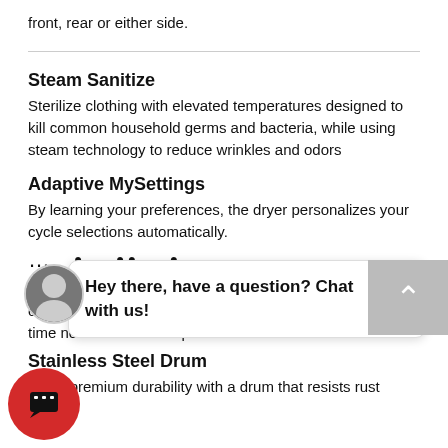front, rear or either side.
Steam Sanitize
Sterilize clothing with elevated temperatures designed to kill common household germs and bacteria, while using steam technology to reduce wrinkles and odors
Adaptive MySettings
By learning your preferences, the dryer personalizes your cycle selections automatically.
... . .. .
dryer so you only
[Figure (other): Chat widget overlay with avatar photo of a man, speech bubble saying 'Hey there, have a question? Chat with us!', close button, scroll-up button, and red chat button with message icon]
Smart Features Powered by SmartHQ™
op and monitor your laundry from anywhere ceiving real-time notifications and updates.
Stainless Steel Drum
Enjoy premium durability with a drum that resists rust...